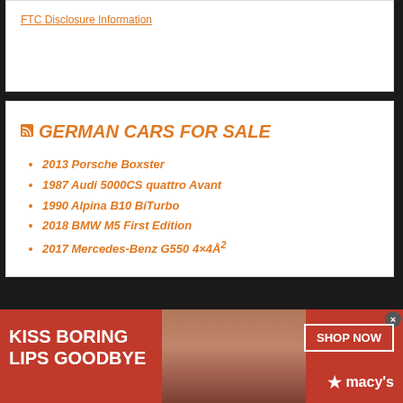FTC Disclosure Information
GERMAN CARS FOR SALE
2013 Porsche Boxster
1987 Audi 5000CS quattro Avant
1990 Alpina B10 BiTurbo
2018 BMW M5 First Edition
2017 Mercedes-Benz G550 4×4²
[Figure (photo): Macy's advertisement banner: 'KISS BORING LIPS GOODBYE' with a woman's face showing red lipstick, and a 'SHOP NOW' button with Macy's star logo]